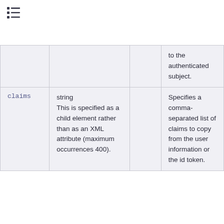|  |  |  |  |
| --- | --- | --- | --- |
|  |  |  | to the authenticated subject. |
| claims | string This is specified as a child element rather than as an XML attribute (maximum occurrences 400). |  | Specifies a comma-separated list of claims to copy from the user information or the id token. |